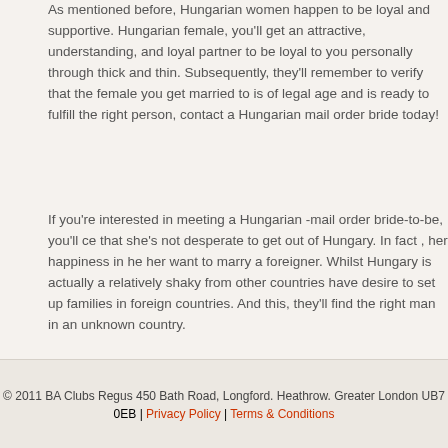As mentioned before, Hungarian women happen to be loyal and supportive. Hungarian female, you'll get an attractive, understanding, and loyal partner to be loyal to you personally through thick and thin. Subsequently, they'll remember to verify that the female you get married to is of legal age and is ready to fulfill the right person, contact a Hungarian mail order bride today!
If you're interested in meeting a Hungarian -mail order bride-to-be, you'll ce that she's not desperate to get out of Hungary. In fact , her happiness in he her want to marry a foreigner. Whilst Hungary is actually a relatively shaky from other countries have desire to set up families in foreign countries. And this, they'll find the right man in an unknown country.
The success rate of the Hungarian all mail order bride depends on the site gives profiles of Hungarian women is highly recommended. These website girlfriends or wives and establish a relationship. Many of these sites have a available. The success rate can be high. And as long as the website prese it's a wise decision for finding a wife.
© 2011 BA Clubs Regus 450 Bath Road, Longford. Heathrow. Greater London UB7 0EB | Privacy Policy | Terms & Conditions